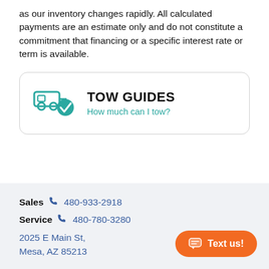as our inventory changes rapidly. All calculated payments are an estimate only and do not constitute a commitment that financing or a specific interest rate or term is available.
[Figure (infographic): TOW GUIDES box with towing icon and text 'How much can I tow?']
Sales 480-933-2918
Service 480-780-3280
2025 E Main St, Mesa, AZ 85213